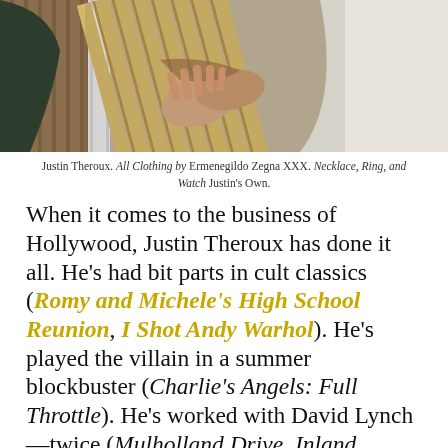[Figure (photo): Close-up photo of hands holding wooden slats or reeds, with a white garment visible. Background shows wood paneling.]
Justin Theroux. All Clothing by Ermenegildo Zegna XXX. Necklace, Ring, and Watch Justin's Own.
When it comes to the business of Hollywood, Justin Theroux has done it all. He's had bit parts in cult classics (Romy and Michele's High School Reunion, I Shot Andy Warhol). He's played the villain in a summer blockbuster (Charlie's Angels: Full Throttle). He's worked with David Lynch—twice (Mulholland Drive, Inland Empire). He's led a prestige television